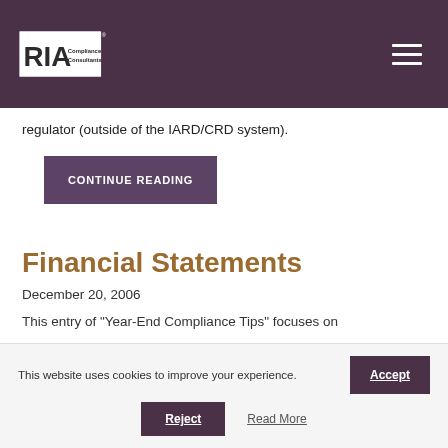RIA Compliance Consultants
regulator (outside of the IARD/CRD system).
CONTINUE READING
Financial Statements
December 20, 2006
This entry of "Year-End Compliance Tips" focuses on
This website uses cookies to improve your experience.
Accept
Reject
Read More